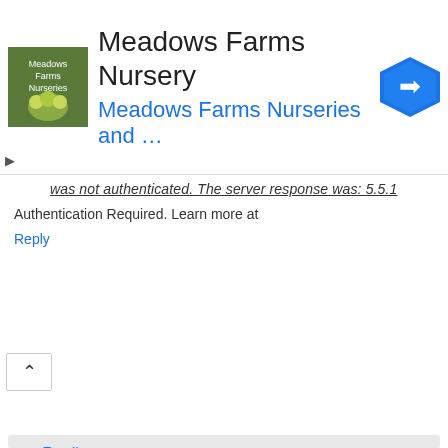[Figure (logo): Meadows Farms Nursery advertisement banner with logo image, title 'Meadows Farms Nursery', subtitle 'Meadows Farms Nurseries and ...', and a blue navigation arrow icon]
was not authenticated. The server response was: 5.5.1 Authentication Required. Learn more at
Reply
▾ Replies
Unknown March 31, 2016 at 11:52 PM
the root cause of the issue is Gmail change the security setting to beef up the security. by default Access for Less secure Apps had been disabled. after i turned Access for less secure apps on. my demo goes very smooth.

after you log into your gmail account and click on the link below to change the security setting for google account.